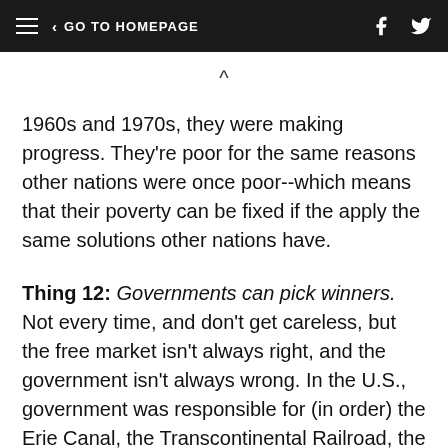≡  < GO TO HOMEPAGE
1960s and 1970s, they were making progress. They're poor for the same reasons other nations were once poor--which means that their poverty can be fixed if the apply the same solutions other nations have.
Thing 12: Governments can pick winners. Not every time, and don't get careless, but the free market isn't always right, and the government isn't always wrong. In the U.S., government was responsible for (in order) the Erie Canal, the Transcontinental Railroad, the Interstate Highway System, and the Internet. Not to mention the